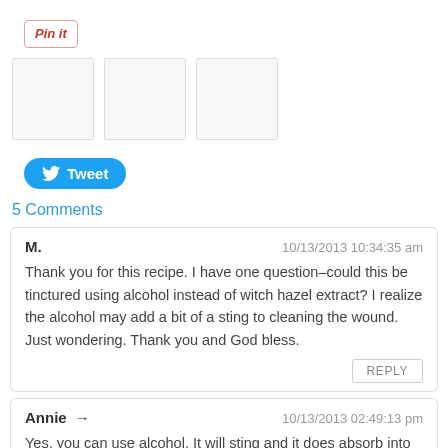[Figure (other): Pin it button - a Pinterest share button with red italic text 'Pin it' inside a bordered box]
[Figure (other): Three social share image placeholder boxes side by side]
[Figure (other): Twitter Tweet button - blue rounded pill button with bird icon and 'Tweet' text]
5 Comments
M.
10/13/2013 10:34:35 am
Thank you for this recipe. I have one question–could this be tinctured using alcohol instead of witch hazel extract? I realize the alcohol may add a bit of a sting to cleaning the wound. Just wondering. Thank you and God bless.
REPLY
Annie → 10/13/2013 02:49:13 pm
Yes, you can use alcohol. It will sting and it does absorb into the body through the skin which is why I choose witch hazel. If that's not a problem for you, go ahead try it with alcohol.